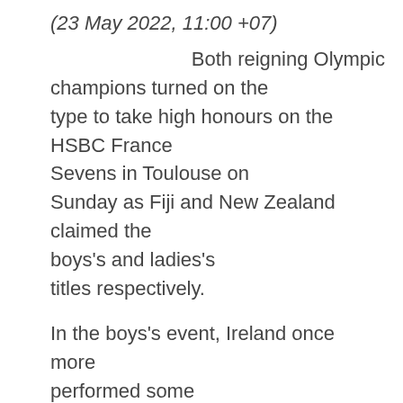(23 May 2022, 11:00 +07)
Both reigning Olympic champions turned on the type to take high honours on the HSBC France Sevens in Toulouse on Sunday as Fiji and New Zealand claimed the boys’s and ladies’s titles respectively.
In the boys’s event, Ireland once more performed some spectacular rugby to succeed in their first ever males’s Cup ultimate, however in the ultimate the Fijians – off the again of gold